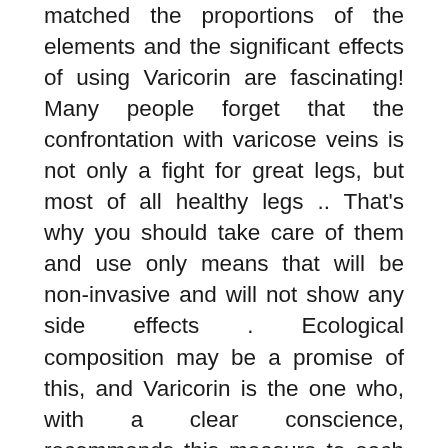matched the proportions of the elements and the significant effects of using Varicorin are fascinating! Many people forget that the confrontation with varicose veins is not only a fight for great legs, but most of all healthy legs .. That's why you should take care of them and use only means that will be non-invasive and will not show any side effects . Ecological composition may be a promise of this, and Varicorin is the one who, with a clear conscience, recommends this measure to each of you! Despite the wealth of offers that come to us from the market, let's be aware that some of the funds are made for earnings and they do not have much in common, and they can still hurt .. Varicorin already has a great reputation, and I'm sure that it will quickly dominate the entire market, because it is a product we have not seen before, whose results are noticeable after a short period of use. The confirmation of these words is also the numerous praises which the consumers who have checked Varicorin on their skin express!